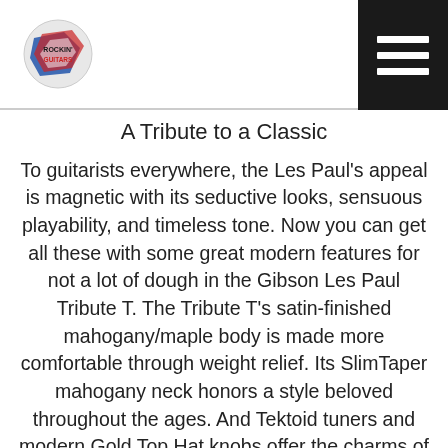[Figure (logo): Rockin' Guitar logo — small colorful graphic with text]
A Tribute to a Classic
To guitarists everywhere, the Les Paul's appeal is magnetic with its seductive looks, sensuous playability, and timeless tone. Now you can get all these with some great modern features for not a lot of dough in the Gibson Les Paul Tribute T. The Tribute T's satin-finished mahogany/maple body is made more comfortable through weight relief. Its SlimTaper mahogany neck honors a style beloved throughout the ages. And Tektoid tuners and modern Gold Top Hat knobs offer the charms of a vintage instrument without the cost. Pair these with a set of vintage-style 490 humbuckers, and you've got a guitar that's fine enough to be your daily driver, yet affordable enough to be your weekend